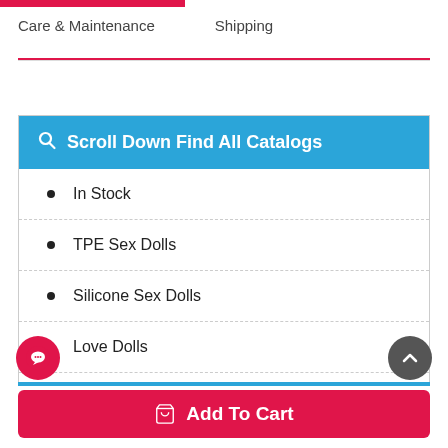Care & Maintenance    Shipping
Scroll Down Find All Catalogs
In Stock
TPE Sex Dolls
Silicone Sex Dolls
Love Dolls
Sex Doll Hips
Add To Cart